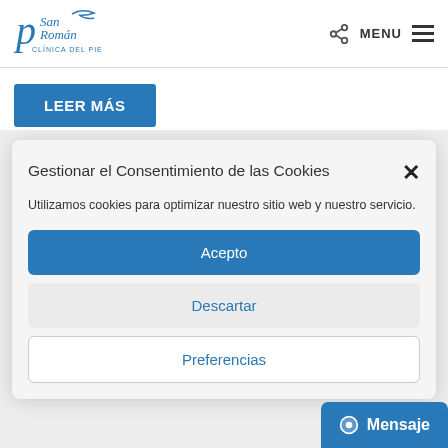[Figure (logo): San Román Clínica del Pie logo with stylized letters and bird]
MENU
LEER MÁS
Gestionar el Consentimiento de las Cookies
Utilizamos cookies para optimizar nuestro sitio web y nuestro servicio.
Acepto
Descartar
Preferencias
Mensaje